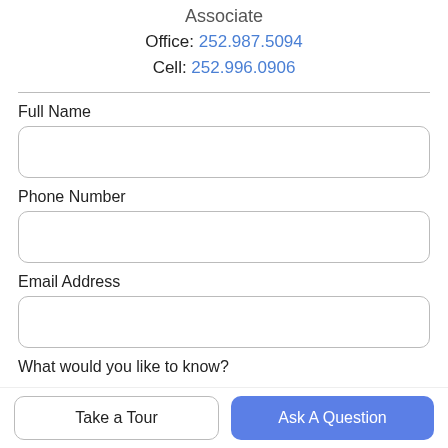Associate
Office: 252.987.5094
Cell: 252.996.0906
Full Name
Phone Number
Email Address
What would you like to know?
Take a Tour
Ask A Question